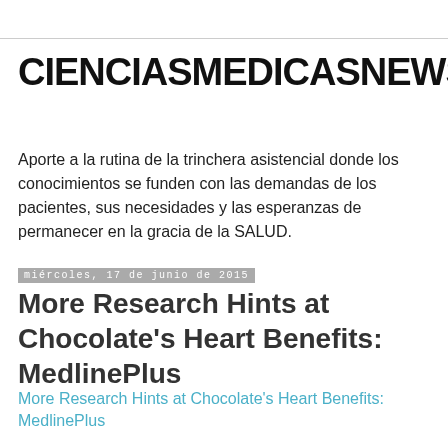CIENCIASMEDICASNEWS
Aporte a la rutina de la trinchera asistencial donde los conocimientos se funden con las demandas de los pacientes, sus necesidades y las esperanzas de permanecer en la gracia de la SALUD.
miércoles, 17 de junio de 2015
More Research Hints at Chocolate's Heart Benefits: MedlinePlus
More Research Hints at Chocolate's Heart Benefits: MedlinePlus